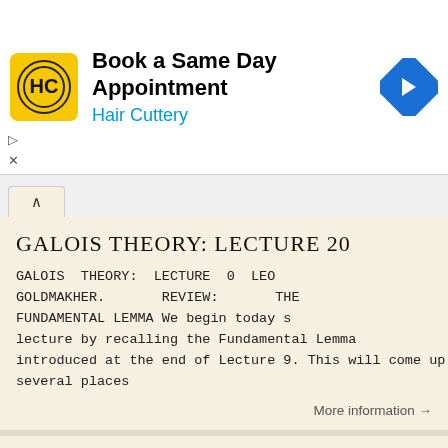[Figure (infographic): Hair Cuttery advertisement banner with logo, text 'Book a Same Day Appointment', 'Hair Cuttery', and a blue navigation arrow icon on the right]
GALOIS THEORY: LECTURE 20
GALOIS THEORY: LECTURE 0 LEO GOLDMAKHER. REVIEW: THE FUNDAMENTAL LEMMA We begin today s lecture by recalling the Fundamental Lemma introduced at the end of Lecture 9. This will come up in several places
More information →
Algebra Exam, Spring 2017
Algebra Exam, Spring 2017 There are 5 problems, some with several parts. Easier parts count for less than harder ones, but